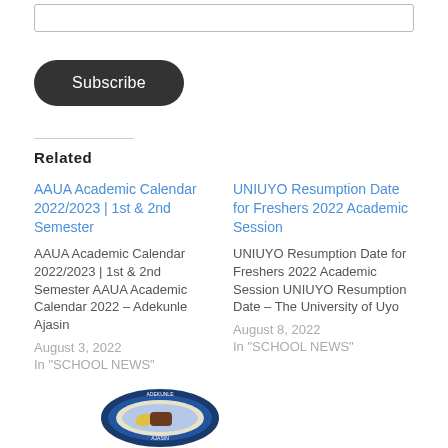[Figure (other): Input field (text box) for email subscription]
Subscribe
Related
AAUA Academic Calendar 2022/2023 | 1st & 2nd Semester
AAUA Academic Calendar 2022/2023 | 1st & 2nd Semester AAUA Academic Calendar 2022 – Adekunle Ajasin
August 3, 2022
In "SCHOOL NEWS"
UNIUYO Resumption Date for Freshers 2022 Academic Session
UNIUYO Resumption Date for Freshers 2022 Academic Session UNIUYO Resumption Date – The University of Uyo
August 8, 2022
In "SCHOOL NEWS"
[Figure (logo): University logo/crest (Adekunle Ajasin University) at bottom left]